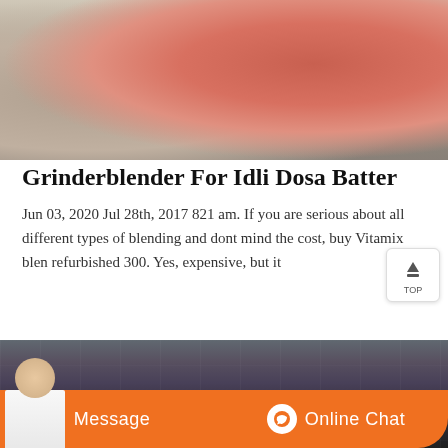[Figure (photo): Industrial machinery photo showing large curved red/orange cylindrical equipment with netting and grinder machinery in a factory setting]
Grinderblender For Idli Dosa Batter
Jun 03, 2020 Jul 28th, 2017 821 am. If you are serious about all different types of blending and dont mind the cost, buy Vitamix blen refurbished 300. Yes, expensive, but it
[Figure (photo): Dark interior of an industrial warehouse or factory floor with low lighting]